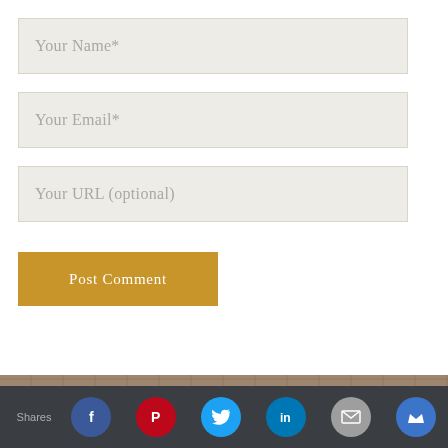Your Name*
Your Email*
Your URL (optional)
Post Comment
eatheEar
Shares | Facebook | Pinterest | Twitter | LinkedIn | Mail | Crown